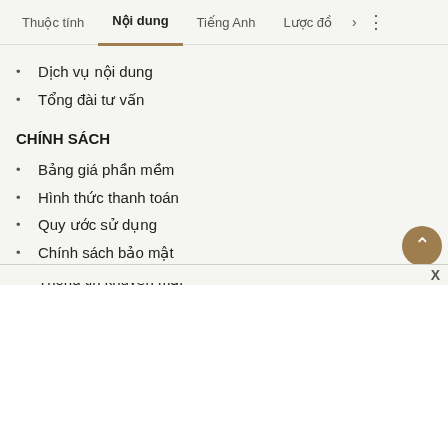Thuộc tính  Nội dung  Tiếng Anh  Lược đồ  >  ⋮
Dịch vụ nội dung
Tổng đài tư vấn
CHÍNH SÁCH
Bảng giá phần mềm
Hình thức thanh toán
Quy ước sử dụng
Chính sách bảo mật
Thông tin khuyến mại
Thông báo hợp tác